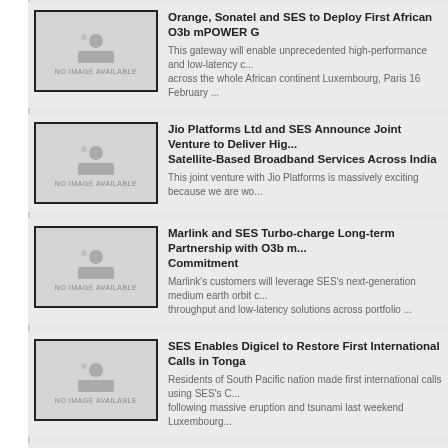Orange, Sonatel and SES to Deploy First African O3b mPOWER G - This gateway will enable unprecedented high-performance and low-latency c... across the whole African continent Luxembourg, Paris 16 February ...
Jio Platforms Ltd and SES Announce Joint Venture to Deliver Hig... Satellite-Based Broadband Services Across India - This joint venture with Jio Platforms is massively exciting because we are wo...
Marlink and SES Turbo-charge Long-term Partnership with O3b m... Commitment - Marlink's customers will leverage SES's next-generation medium earth orbit c... throughput and low-latency solutions across portfolio ...
SES Enables Digicel to Restore First International Calls in Tonga - Residents of South Pacific nation made first international calls using SES's C... following massive eruption and tsunami last weekend Luxembourg...
SES Skala Global Platform Data Use Increases by 150% for Secon... - Doubling of connected sites and connectivity services mainly driven by comm... Luxembourg, 19 January 2022 - The number of sites and conne...
SES Appoints John-Paul Hemingway as Chief Strategy and Produ... - Hemingway charged with driving SES's growth strategy Luxembourg, 18 Jan... adding a new Chief Strategy and Product Officer (CSPO) to its Sen...
SES Government Solutions Launches On-Demand X-band Servic... - Guaranteed non-preemptible volume-based satellite services for missio...